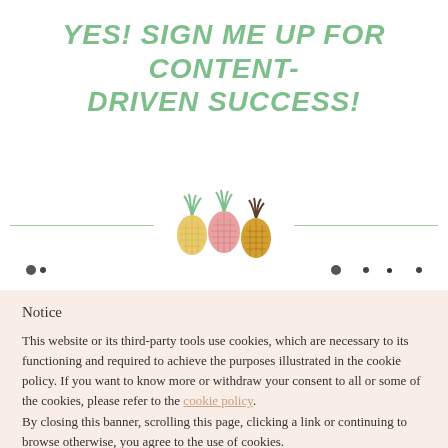YES! SIGN ME UP FOR CONTENT-DRIVEN SUCCESS!
[Figure (illustration): Three illustrated pineapples (yellow, pink, and dark yellow/brown) with green tops, arranged horizontally with a horizontal green line divider on each side]
Notice
This website or its third-party tools use cookies, which are necessary to its functioning and required to achieve the purposes illustrated in the cookie policy. If you want to know more or withdraw your consent to all or some of the cookies, please refer to the cookie policy. By closing this banner, scrolling this page, clicking a link or continuing to browse otherwise, you agree to the use of cookies.